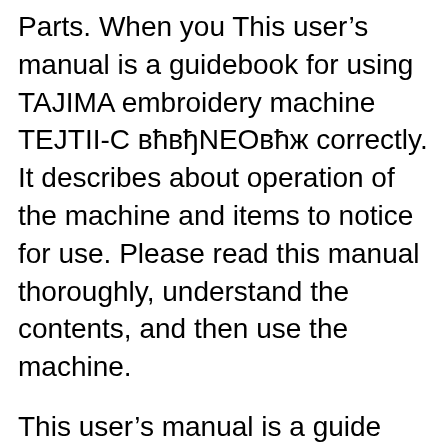Parts. When you This user's manual is a guidebook for using TAJIMA embroidery machine TEJTII-C вЋњNEOвЋҡ correctly. It describes about operation of the machine and items to notice for use. Please read this manual thoroughly, understand the contents, and then use the machine.
This user's manual is a guide book for using TAJIMA embroidery machine TEJT-C вЋњNEOвЋҡ correctly. It describes about operation of the machine and items to notice for use. Please read this manual thoroughly, understand the con-tents, and then use the machine. This manual is composed of the following contents. [IMPORTANT